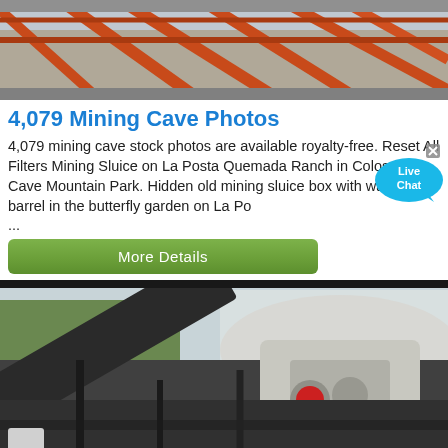[Figure (photo): Mining equipment structure with orange metal frames against a light background, viewed from below/side angle]
4,079 Mining Cave Photos
4,079 mining cave stock photos are available royalty-free. Reset All Filters Mining Sluice on La Posta Quemada Ranch in Colossal Cave Mountain Park. Hidden old mining sluice box with water barrel in the butterfly garden on La Posta ...
[Figure (other): Live Chat bubble widget overlay]
[Figure (photo): Large industrial mining crusher/conveyor equipment at a quarry with white rock piles in background]